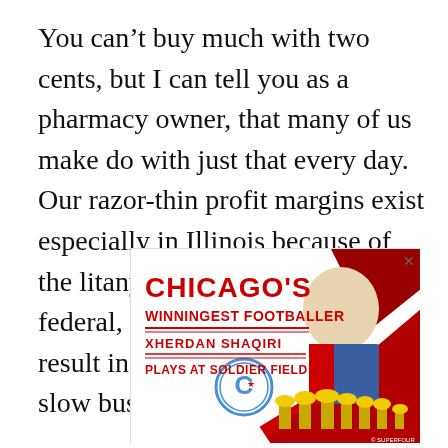You can't buy much with two cents, but I can tell you as a pharmacy owner, that many of us make do with just that every day. Our razor-thin profit margins exist especially in Illinois because of the litany of cost mandates at federal, state, and local levels that result in employee reductions, slow business growth, or worse.
[Figure (illustration): Advertisement for Chicago Fire FC featuring 'CHICAGO'S WINNINGEST FOOTBALLER XHERDAN SHAQIRI PLAYS AT SOLDIER FIELD' with a footballer image, trophy cups, red and white background, and Chicago Fire FC logo.]